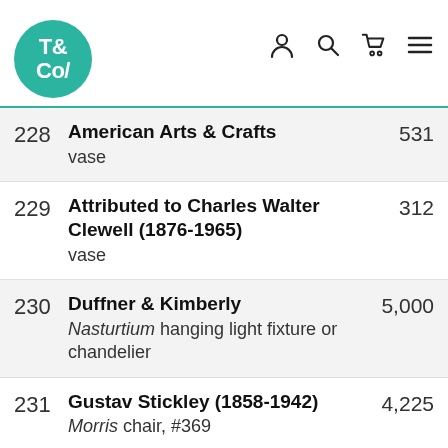T&Co/ [logo] with navigation icons
228 American Arts & Crafts vase 531
229 Attributed to Charles Walter Clewell (1876-1965) vase 312
230 Duffner & Kimberly Nasturtium hanging light fixture or chandelier 5,000
231 Gustav Stickley (1858-1942) Morris chair, #369 4,225
232 Wilhelmina Post (b. 1947) [partial]